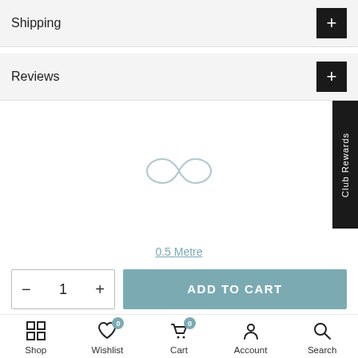Shipping
Reviews
[Figure (illustration): Loading spinner / infinity symbol in light gray]
0.5 Metre
ADD TO CART
Shop | Wishlist 0 | Cart 0 | Account | Search